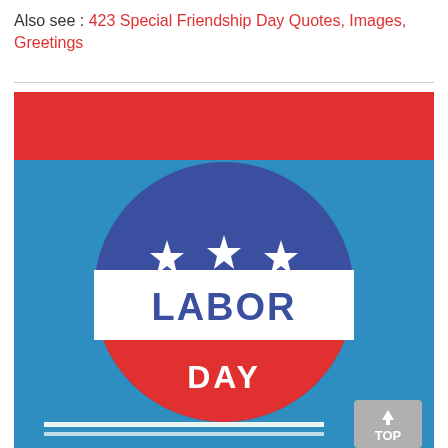Also see : 423 Special Friendship Day Quotes, Images, Greetings
[Figure (illustration): Labor Day badge/button on a blue and red background. The badge is circular with a blue top section containing three white stars, a white middle band with 'LABOR' in blue bold text, and a red bottom section with 'DAY' in white bold text. The background is divided into a red top strip and a blue main area. A 'TOP' scroll button appears in the bottom right corner.]